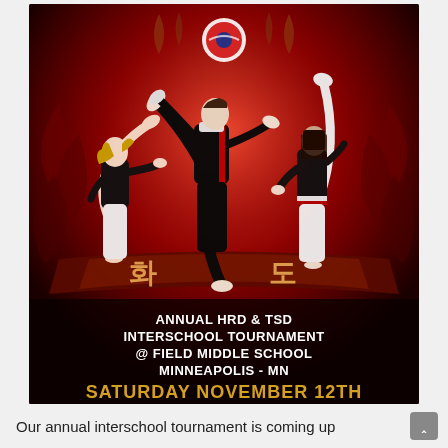[Figure (photo): Taekwondo tournament promotional poster with red/dark background, three martial artists in kicking poses, Korean characters on a banner ribbon, and text announcing the Annual HRD & TSD Interschool Tournament at Field Middle School, Minneapolis MN, Saturday November 12th]
Our annual interschool tournament is coming up